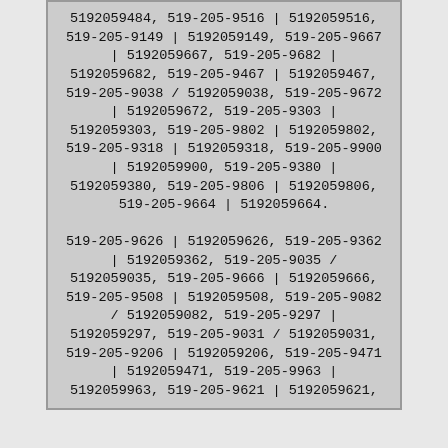5192059484, 519-205-9516 | 5192059516, 519-205-9149 | 5192059149, 519-205-9667 | 5192059667, 519-205-9682 | 5192059682, 519-205-9467 | 5192059467, 519-205-9038 / 5192059038, 519-205-9672 | 5192059672, 519-205-9303 | 5192059303, 519-205-9802 | 5192059802, 519-205-9318 | 5192059318, 519-205-9900 | 5192059900, 519-205-9380 | 5192059380, 519-205-9806 | 5192059806, 519-205-9664 | 5192059664.
519-205-9626 | 5192059626, 519-205-9362 | 5192059362, 519-205-9035 / 5192059035, 519-205-9666 | 5192059666, 519-205-9508 | 5192059508, 519-205-9082 / 5192059082, 519-205-9297 | 5192059297, 519-205-9031 / 5192059031, 519-205-9206 | 5192059206, 519-205-9471 | 5192059471, 519-205-9963 | 5192059963, 519-205-9621 | 5192059621,